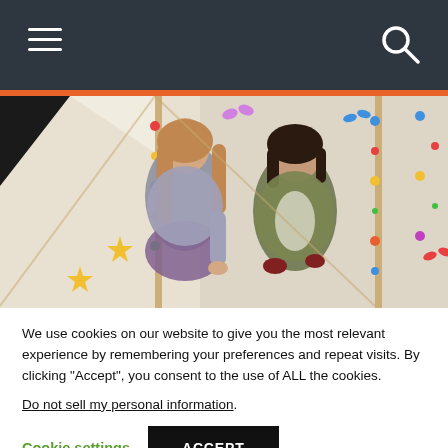Navigation bar with hamburger menu and search icon
[Figure (photo): Two women standing inside a colorful decorated space with hanging ornaments and streamers, viewed from a low angle. One woman has long wavy hair and wears a gray hoodie and floral skirt; the other has dark hair and wears an olive jacket.]
We use cookies on our website to give you the most relevant experience by remembering your preferences and repeat visits. By clicking “Accept”, you consent to the use of ALL the cookies.
Do not sell my personal information.
Cookie settings  ACCEPT